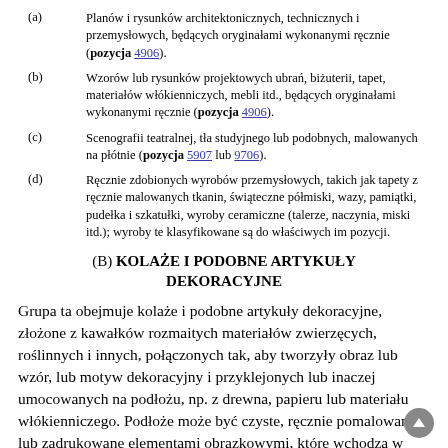(a) Planów i rysunków architektonicznych, technicznych i przemysłowych, będących oryginałami wykonanymi ręcznie (pozycja 4906).
(b) Wzorów lub rysunków projektowych ubrań, biżuterii, tapet, materiałów włókienniczych, mebli itd., będących oryginałami wykonanymi ręcznie (pozycja 4906).
(c) Scenografii teatralnej, tła studyjnego lub podobnych, malowanych na płótnie (pozycja 5907 lub 9706).
(d) Ręcznie zdobionych wyrobów przemysłowych, takich jak tapety z ręcznie malowanych tkanin, świąteczne półmiski, wazy, pamiątki, pudełka i szkatułki, wyroby ceramiczne (talerze, naczynia, miski itd.); wyroby te klasyfikowane są do właściwych im pozycji.
(B) KOLAŻE I PODOBNE ARTYKUŁY DEKORACYJNE
Grupa ta obejmuje kolaże i podobne artykuły dekoracyjne, złożone z kawałków rozmaitych materiałów zwierzęcych, roślinnych i innych, połączonych tak, aby tworzyły obraz lub wzór, lub motyw dekoracyjny i przyklejonych lub inaczej umocowanych na podłożu, np. z drewna, papieru lub materiału włókienniczego. Podłoże może być czyste, ręcznie pomalowane lub zadrukowane elementami obrazkowymi, które wchodzą w skład całego wzoru.